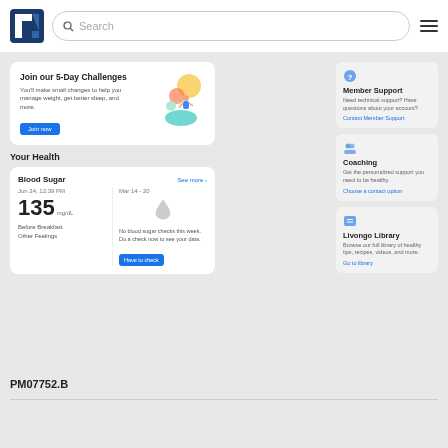[Figure (screenshot): Livongo health app interface showing navigation header with logo, search bar, hamburger menu, challenge card, blood sugar health tracker, and sidebar with Member Support, Coaching, and Livongo Library sections]
PM07752.B